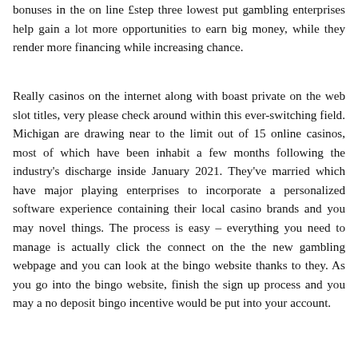bonuses in the on line £step three lowest put gambling enterprises help gain a lot more opportunities to earn big money, while they render more financing while increasing chance.
Really casinos on the internet along with boast private on the web slot titles, very please check around within this ever-switching field. Michigan are drawing near to the limit out of 15 online casinos, most of which have been inhabit a few months following the industry's discharge inside January 2021. They've married which have major playing enterprises to incorporate a personalized software experience containing their local casino brands and you may novel things. The process is easy – everything you need to manage is actually click the connect on the the new gambling webpage and you can look at the bingo website thanks to they. As you go into the bingo website, finish the sign up process and you may a no deposit bingo incentive would be put into your account.